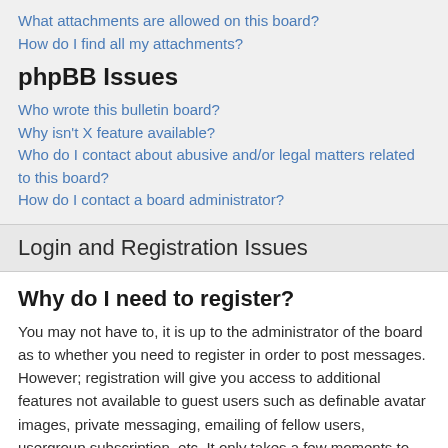What attachments are allowed on this board?
How do I find all my attachments?
phpBB Issues
Who wrote this bulletin board?
Why isn't X feature available?
Who do I contact about abusive and/or legal matters related to this board?
How do I contact a board administrator?
Login and Registration Issues
Why do I need to register?
You may not have to, it is up to the administrator of the board as to whether you need to register in order to post messages. However; registration will give you access to additional features not available to guest users such as definable avatar images, private messaging, emailing of fellow users, usergroup subscription, etc. It only takes a few moments to register so it is recommended you do so.
What is COPPA?